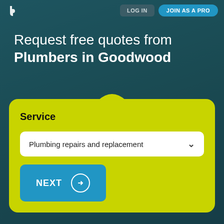LOG IN | JOIN AS A PRO
Request free quotes from Plumbers in Goodwood
Service
Plumbing repairs and replacement
NEXT